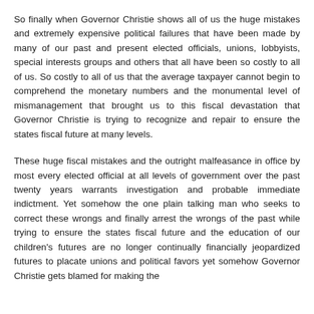So finally when Governor Christie shows all of us the huge mistakes and extremely expensive political failures that have been made by many of our past and present elected officials, unions, lobbyists, special interests groups and others that all have been so costly to all of us. So costly to all of us that the average taxpayer cannot begin to comprehend the monetary numbers and the monumental level of mismanagement that brought us to this fiscal devastation that Governor Christie is trying to recognize and repair to ensure the states fiscal future at many levels.
These huge fiscal mistakes and the outright malfeasance in office by most every elected official at all levels of government over the past twenty years warrants investigation and probable immediate indictment. Yet somehow the one plain talking man who seeks to correct these wrongs and finally arrest the wrongs of the past while trying to ensure the states fiscal future and the education of our children's futures are no longer continually financially jeopardized futures to placate unions and political favors yet somehow Governor Christie gets blamed for making the